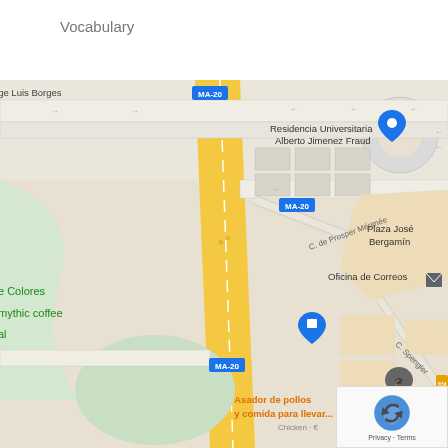Vocabulary
[Figure (map): Google Maps screenshot showing the area around Residencia Universitaria Alberto Jimenez Fraud in Málaga, Spain. Shows highway MA-20 (yellow road), streets including C. de Prosper Mérimée and C. Spengler, landmarks including Plaza José Bergamín, Oficina de Correos, Hospital Veterinario SOS Animal, Asador de pollos y comida para llevar (Chicken · €). Also shows partial labels: Jorge Luis Borges, e Colores, mythic coffee, al. reCAPTCHA Privacy · Terms overlay in bottom right.]